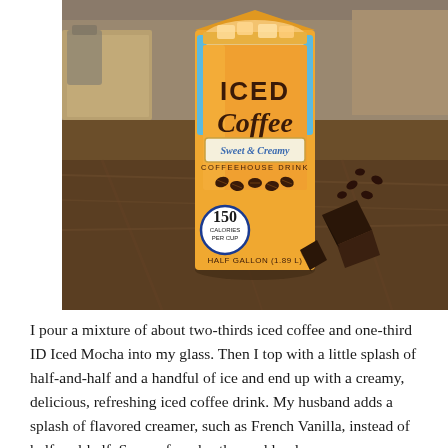[Figure (photo): Photo of an International Delight Sweet & Creamy Iced Coffee half-gallon carton with 150 calories per cup label, positioned on a granite kitchen countertop next to chocolate pieces and coffee beans. Kitchen appliances visible in background.]
I pour a mixture of about two-thirds iced coffee and one-third ID Iced Mocha into my glass. Then I top with a little splash of half-and-half and a handful of ice and end up with a creamy, delicious, refreshing iced coffee drink. My husband adds a splash of flavored creamer, such as French Vanilla, instead of half-and-half. Some of my brothers add only